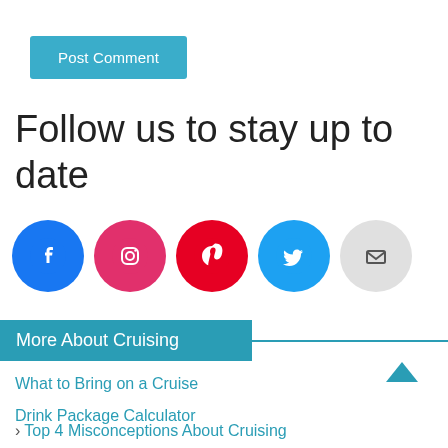Post Comment
Follow us to stay up to date
[Figure (illustration): Row of social media icon circles: Facebook (blue), Instagram (pink/red), Pinterest (red), Twitter (light blue), Mail (gray)]
More About Cruising
What to Bring on a Cruise
Drink Package Calculator
Top 4 Misconceptions About Cruising